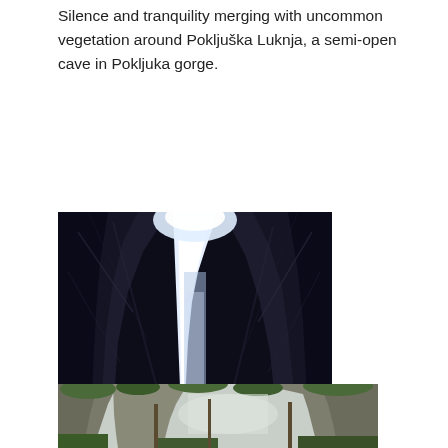Silence and tranquility merging with uncommon vegetation around Pokljuška Luknja, a semi-open cave in Pokljuka gorge.
[Figure (photo): Interior view of Pokljuška Luknja, a semi-open cave in Pokljuka gorge. The photo is taken from inside the cave looking upward toward a bright narrow opening in the rock. Dark rocky walls rise on both sides creating a narrow chasm. A wooden walkway/steps are visible at the bottom.]
[Figure (photo): Partial view of the Pokljuka gorge area showing rocky cliff faces with green vegetation, trees visible at top and bottom of the gorge. A misty or foggy atmosphere in the background.]